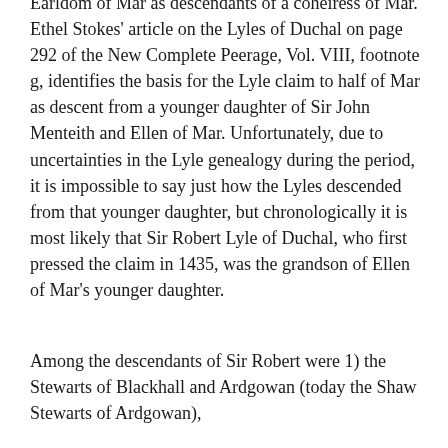Earldom of Mar as descendants of a coheiress of Mar. Ethel Stokes' article on the Lyles of Duchal on page 292 of the New Complete Peerage, Vol. VIII, footnote g, identifies the basis for the Lyle claim to half of Mar as descent from a younger daughter of Sir John Menteith and Ellen of Mar. Unfortunately, due to uncertainties in the Lyle genealogy during the period, it is impossible to say just how the Lyles descended from that younger daughter, but chronologically it is most likely that Sir Robert Lyle of Duchal, who first pressed the claim in 1435, was the grandson of Ellen of Mar's younger daughter.
Among the descendants of Sir Robert were 1) the Stewarts of Blackhall and Ardgowan (today the Shaw Stewarts of Ardgowan),